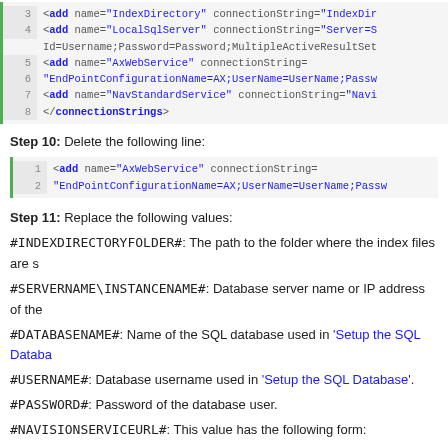[Figure (screenshot): Code block showing XML connection strings, lines 3-8, with line numbers and syntax highlighting]
Step 10: Delete the following line:
[Figure (screenshot): Code block showing AxWebService add element, lines 1-2]
Step 11: Replace the following values:
#INDEXDIRECTORYFOLDER#: The path to the folder where the index files are s
#SERVERNAME\INSTANCENAME#: Database server name or IP address of the
#DATABASENAME#: Name of the SQL database used in 'Setup the SQL Databa
#USERNAME#: Database username used in 'Setup the SQL Database'.
#PASSWORD#: Password of the database user.
#NAVISIONSERVICEURL#: This value has the following form:
#PROTOCOL#://#SERVERNAME#:#PORT#/#NAVINSTANCENAME#/WS/#COM
where: